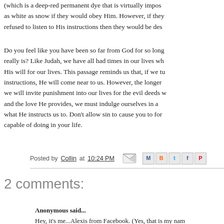(which is a deep-red permanent dye that is virtually impos... as white as snow if they would obey Him. However, if they refused to listen to His instructions then they would be des...
Do you feel like you have been so far from God for so long... really is? Like Judah, we have all had times in our lives wh... His will for our lives. This passage reminds us that, if we tu... instructions, He will come near to us. However, the longer... we will invite punishment into our lives for the evil deeds w... and the love He provides, we must indulge ourselves in a... what He instructs us to. Don't allow sin to cause you to for... capable of doing in your life.
Posted by Collin at 10:24 PM
2 comments:
Anonymous said...
Hey, it's me...Alexis from Facebook. (Yes, that is my nam...